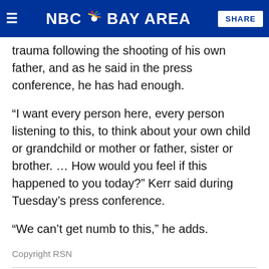NBC Bay Area | SHARE
trauma following the shooting of his own father, and as he said in the press conference, he has had enough.
“I want every person here, every person listening to this, to think about your own child or grandchild or mother or father, sister or brother. … How would you feel if this happened to you today?” Kerr said during Tuesday’s press conference.
“We can’t get numb to this,” he adds.
Copyright RSN
This article tagged under:
STEVE KERR • GOLDEN STATE WARRIORS • UVALDE SCHOOL SHOOTING